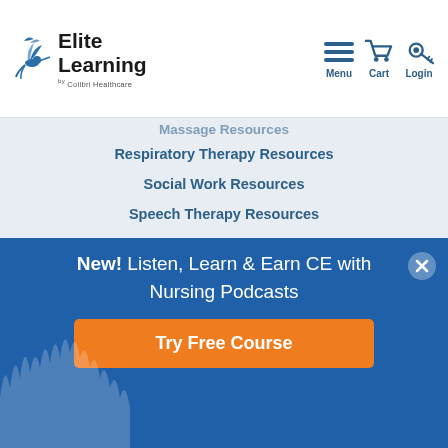Elite Learning by Colibri Healthcare — Menu, Cart, Login
Massage Resources (partial, top)
Respiratory Therapy Resources
Social Work Resources
Speech Therapy Resources
Health Information Resources
Health Management Resources
Laboratory Resources
Radiology Resources (partial, bottom)
New! Listen, Learn & Earn CE with Nursing Podcasts
Try Free Course